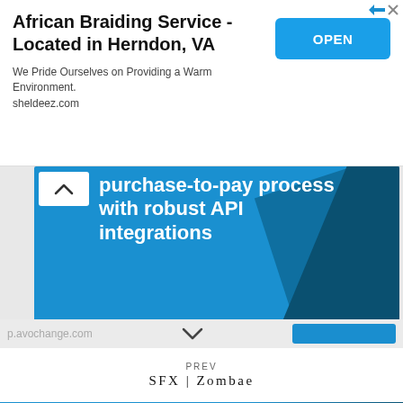[Figure (screenshot): Advertisement banner for African Braiding Service located in Herndon, VA with OPEN button]
African Braiding Service - Located in Herndon, VA
We Pride Ourselves on Providing a Warm Environment. sheldeez.com
[Figure (screenshot): Blue promotional banner with white bold text reading 'purchase-to-pay process with robust API integrations' with a chevron up button and diagonal dark blue shapes]
purchase-to-pay process with robust API integrations
PREV
SFX | Zombae
[Figure (screenshot): Bottom blue advertisement banner with diagonal dark shapes]